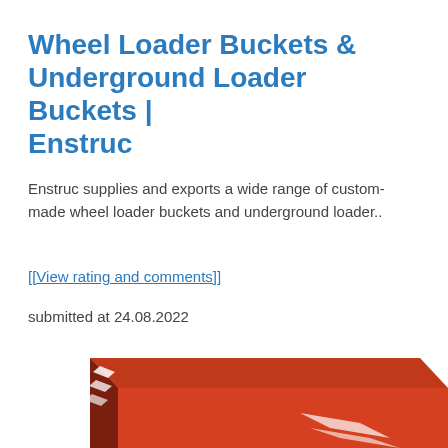Wheel Loader Buckets & Underground Loader Buckets | Enstruc
Enstruc supplies and exports a wide range of custom-made wheel loader buckets and underground loader..
[[View rating and comments]]
submitted at 24.08.2022
[Figure (photo): Red 3D box/package with white geometric logo marks on it, shown at an angle — appears to be product or brand packaging for Enstruc.]